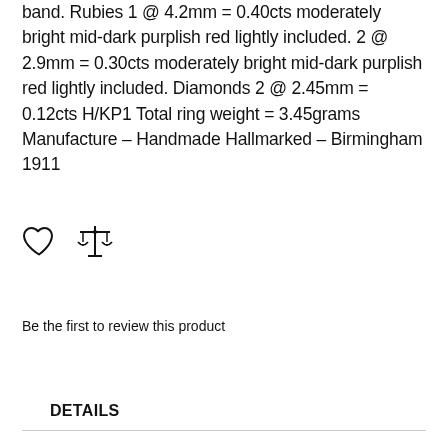band. Rubies 1 @ 4.2mm = 0.40cts moderately bright mid-dark purplish red lightly included. 2 @ 2.9mm = 0.30cts moderately bright mid-dark purplish red lightly included. Diamonds 2 @ 2.45mm = 0.12cts H/KP1 Total ring weight = 3.45grams Manufacture – Handmade Hallmarked – Birmingham 1911
[Figure (illustration): Heart (like/wishlist) icon and scales of justice (compare) icon]
Be the first to review this product
DETAILS